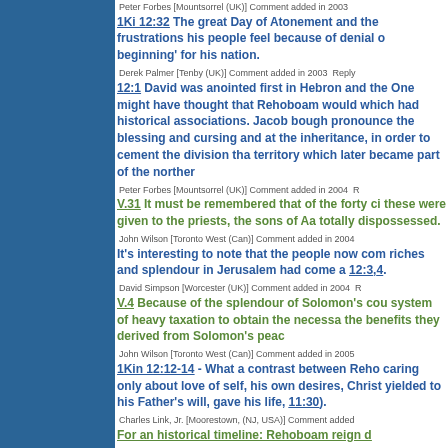Peter Forbes [Mountsorrel (UK)]  Comment added in 2003
1Ki 12:32 The great Day of Atonement and the frustrations his people feel because of denial o beginning' for his nation.
Derek Palmer [Tenby (UK)]  Comment added in 2003  Reply
12:1 David was anointed first in Hebron and the One might have thought that Rehoboam would which had historical associations. Jacob bough pronounce the blessing and cursing and at the inheritance, in order to cement the division tha territory which later became part of the norther
Peter Forbes [Mountsorrel (UK)]  Comment added in 2004
V.31 It must be remembered that of the forty ci these were given to the priests, the sons of Aa totally dispossessed.
John Wilson [Toronto West (Can)]  Comment added in 2004
It's interesting to note that the people now com riches and splendour in Jerusalem had come a 12:3,4.
David Simpson [Worcester (UK)]  Comment added in 2004
V.4 Because of the splendour of Solomon's cou system of heavy taxation to obtain the necessa the benefits they derived from Solomon's peac
John Wilson [Toronto West (Can)]  Comment added in 2005
1Kin 12:12-14 - What a contrast between Reho caring only about love of self, his own desires, Christ yielded to his Father's will, gave his life, 11:30).
Charles Link, Jr. [Moorestown, (NJ, USA)]  Comment added
For an historical timeline: Rehoboam reign d